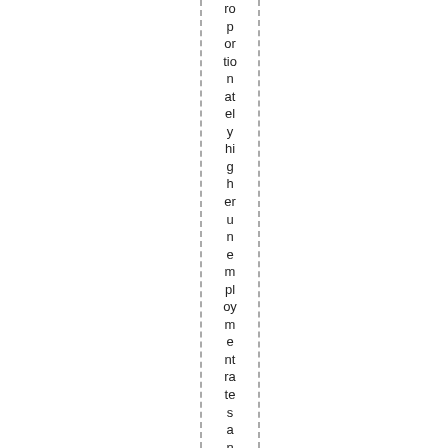roportionately higher unemployment rates and deservi